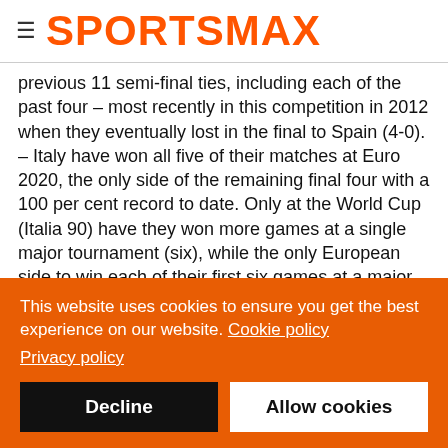SPORTSMAX
previous 11 semi-final ties, including each of the past four – most recently in this competition in 2012 when they eventually lost in the final to Spain (4-0).
– Italy have won all five of their matches at Euro 2020, the only side of the remaining final four with a 100 per cent record to date. Only at the World Cup (Italia 90) have they won more games at a single major tournament (six), while the only European side to win each of their first six games at a major tournament was the Netherlands at the 2010 World Cup, when
This website uses cookies to ensure you get the best experience on our website. Cookie policy
Privacy policy
Decline
Allow cookies